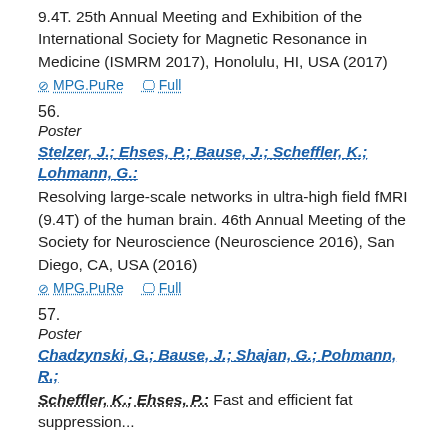9.4T. 25th Annual Meeting and Exhibition of the International Society for Magnetic Resonance in Medicine (ISMRM 2017), Honolulu, HI, USA (2017)
MPG.PuRe   Full
56.
Poster
Stelzer, J.; Ehses, P.; Bause, J.; Scheffler, K.; Lohmann, G.: Resolving large-scale networks in ultra-high field fMRI (9.4T) of the human brain. 46th Annual Meeting of the Society for Neuroscience (Neuroscience 2016), San Diego, CA, USA (2016)
MPG.PuRe   Full
57.
Poster
Chadzynski, G.; Bause, J.; Shajan, G.; Pohmann, R.; Scheffler, K.; Ehses, P.: Fast and efficient fat suppression...